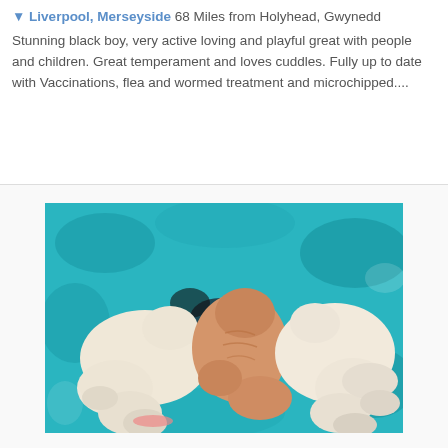Liverpool, Merseyside 68 Miles from Holyhead, Gwynedd
Stunning black boy, very active loving and playful great with people and children. Great temperament and loves cuddles. Fully up to date with Vaccinations, flea and wormed treatment and microchipped....
[Figure (photo): Three newborn puppies lying close together on a teal/turquoise fluffy blanket. The left and right puppies are pale/cream colored, and the middle puppy is orange/apricot colored. They appear very young with eyes still closed.]